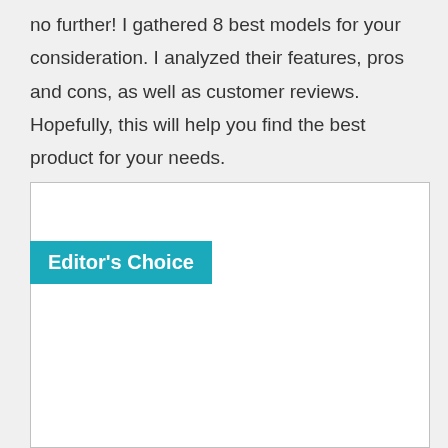no further! I gathered 8 best models for your consideration. I analyzed their features, pros and cons, as well as customer reviews. Hopefully, this will help you find the best product for your needs.
Editor's Choice